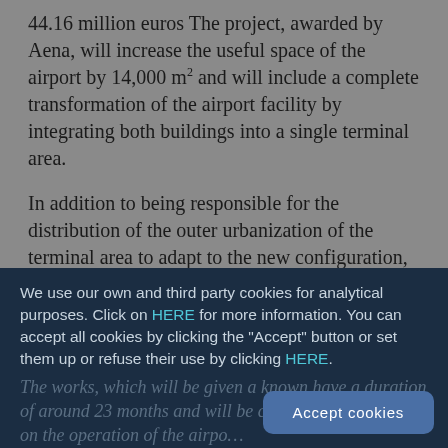44.16 million euros The project, awarded by Aena, will increase the useful space of the airport by 14,000 m² and will include a complete transformation of the airport facility by integrating both buildings into a single terminal area.
In addition to being responsible for the distribution of the outer urbanization of the terminal area to adapt to the new configuration, the works also include the construction of a modern security control, which is centralized and based on a single level, with two large side billing areas in terminals T1 and T2. As a result, the current T1 will readjust the passenger flow and expand the commercial area.
The building will also be equipped with two new entranc...
We use our own and third party cookies for analytical purposes. Click on HERE for more information. You can accept all cookies by clicking the "Accept" button or set them up or refuse their use by clicking HERE.
The works, which will be given a known have a duration of around 23 months and will be carried o... the impact on the operation of the airpo...